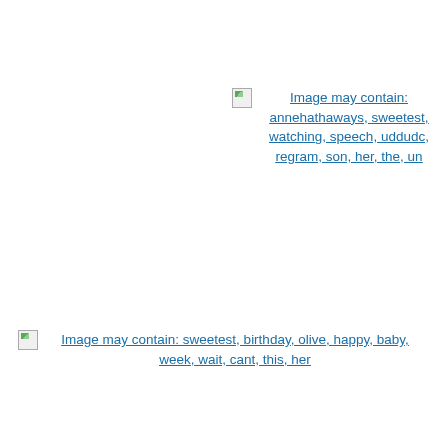[Figure (other): Broken image placeholder with alt text link: Image may contain: annehathaways, sweetest, watching, speech, uddudc, regram, son, her, the, un]
[Figure (other): Broken image placeholder with alt text link: Image may contain: sweetest, birthday, olive, happy, baby, week, wait, cant, this, her]